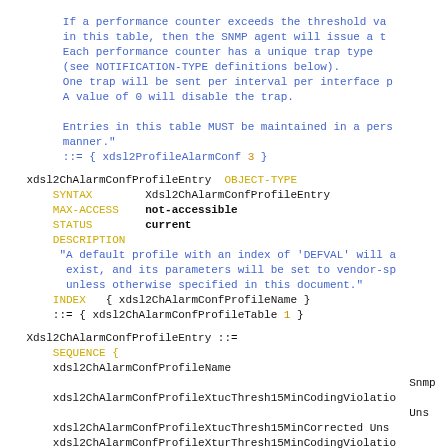If a performance counter exceeds the threshold va
 in this table, then the SNMP agent will issue a t
 Each performance counter has a unique trap type
 (see NOTIFICATION-TYPE definitions below).
 One trap will be sent per interval per interface p
 A value of 0 will disable the trap.

 Entries in this table MUST be maintained in a pers
 manner."
 ::= { xdsl2ProfileAlarmConf 3 }
xdsl2ChAlarmConfProfileEntry  OBJECT-TYPE
    SYNTAX        Xdsl2ChAlarmConfProfileEntry
    MAX-ACCESS    not-accessible
    STATUS        current
    DESCRIPTION
     "A default profile with an index of 'DEFVAL' will a
      exist, and its parameters will be set to vendor-sp
      unless otherwise specified in this document."
    INDEX   { xdsl2ChAlarmConfProfileName }
    ::= { xdsl2ChAlarmConfProfileTable 1 }
Xdsl2ChAlarmConfProfileEntry ::=
    SEQUENCE {
    xdsl2ChAlarmConfProfileName

                                                          Snmp
    xdsl2ChAlarmConfProfileXtucThresh15MinCodingViolatio
                                                          Uns
    xdsl2ChAlarmConfProfileXtucThresh15MinCorrected Uns
    xdsl2ChAlarmConfProfileXturThresh15MinCodingViolatio